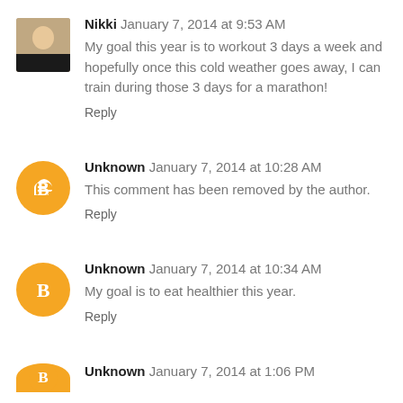Nikki  January 7, 2014 at 9:53 AM
My goal this year is to workout 3 days a week and hopefully once this cold weather goes away, I can train during those 3 days for a marathon!
Reply
Unknown  January 7, 2014 at 10:28 AM
This comment has been removed by the author.
Reply
Unknown  January 7, 2014 at 10:34 AM
My goal is to eat healthier this year.
Reply
Unknown  January 7, 2014 at 1:06 PM